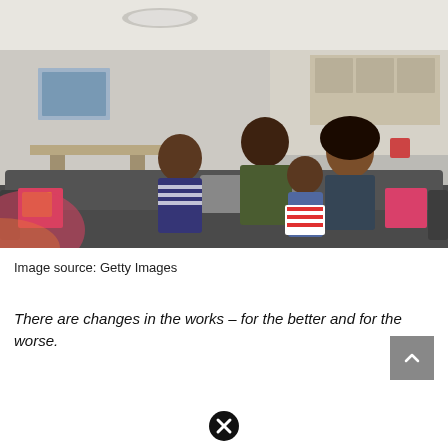[Figure (photo): A family of four — two adults and two children — sitting together on a dark gray sofa in a modern living room, smiling and holding a bucket of popcorn. The room has an open-plan kitchen in the background with pendant lights.]
Image source: Getty Images
There are changes in the works – for the better and for the worse.